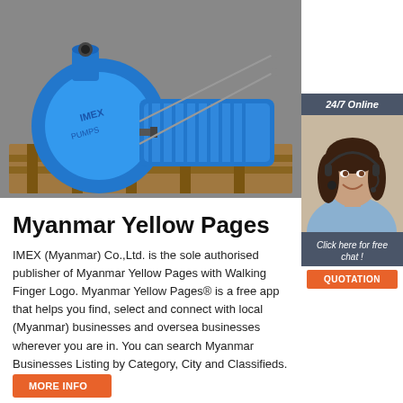[Figure (photo): Blue industrial water pump/motor mounted on a wooden pallet in a warehouse setting]
[Figure (photo): 24/7 Online customer service panel with a smiling woman wearing a headset, a 'Click here for free chat!' button, and an orange QUOTATION button]
Myanmar Yellow Pages
IMEX (Myanmar) Co.,Ltd. is the sole authorised publisher of Myanmar Yellow Pages with Walking Finger Logo. Myanmar Yellow Pages® is a free app that helps you find, select and connect with local (Myanmar) businesses and oversea businesses wherever you are in. You can search Myanmar Businesses Listing by Category, City and Classifieds.